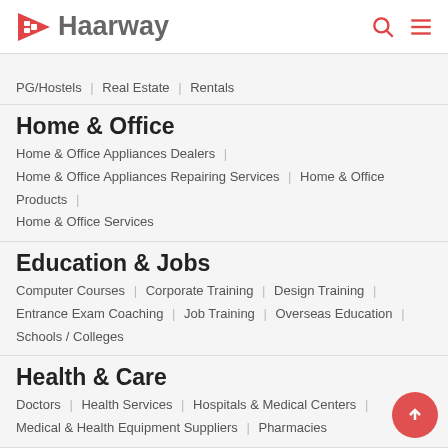Haarway
PG/Hostels | Real Estate | Rentals
Home & Office
Home & Office Appliances Dealers
Home & Office Appliances Repairing Services | Home & Office Products
Home & Office Services
Education & Jobs
Computer Courses | Corporate Training | Design Training
Entrance Exam Coaching | Job Training | Overseas Education
Schools / Colleges
Health & Care
Doctors | Health Services | Hospitals & Medical Centers
Medical & Health Equipment Suppliers | Pharmacies
Search by Cities (India)
Bangalore | Delhi | Hyderabad | Kolkata | Mumbai | Port Blair